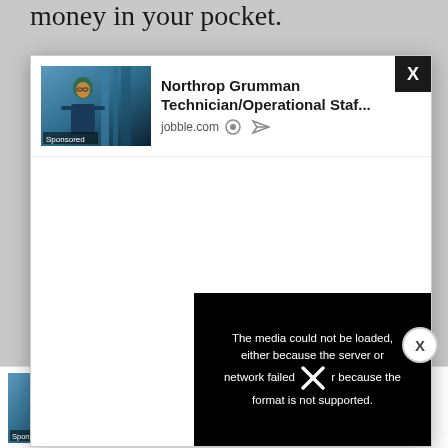money in your pocket.
[Figure (screenshot): Advertisement modal overlay showing Northrop Grumman Technician/Operational Staf... job listing from jobble.com with a sponsored image of a person in hijab in an industrial setting. Modal has an X close button in top-right corner.]
[Figure (screenshot): Video player error message on black background: 'The media could not be loaded, either because the server or network failed or because the format is not supported.' with large X icon overlay.]
insurance you need including stocks,
bonds
[Figure (screenshot): Bottom sticky advertisement banner showing Northrop Grumman Technician/Operational Staf... job listing from jobble.com with sponsored image of person in hijab.]